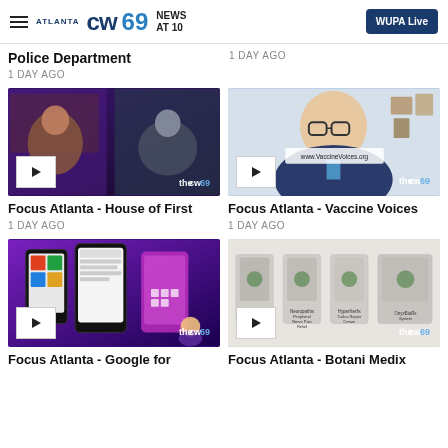Atlanta CW69 News At 10 | WUPA Live
Police Department
1 DAY AGO
1 DAY AGO
[Figure (screenshot): Video thumbnail showing two people in a split-screen video call, purple studio background, CW69 watermark]
[Figure (screenshot): Video thumbnail showing an older man in a suit with glasses, www.VaccineVoices.org banner visible, CW69 watermark]
Focus Atlanta - House of First
1 DAY AGO
Focus Atlanta - Vaccine Voices
1 DAY AGO
[Figure (screenshot): Video thumbnail showing smartphones with colorful apps on purple background, CW69 watermark]
[Figure (screenshot): Video thumbnail showing product lineup: Tineafx Antifungal, Neuropathix Peripheral Nerve Pain Relief, HyperKerfix Callus Repair Cream, OnyxBioRx System, CW69 watermark]
Focus Atlanta - Google for
Focus Atlanta - Botani Medix